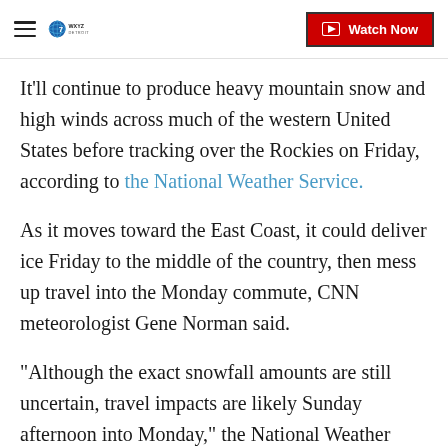WXYZ Detroit | Watch Now
It'll continue to produce heavy mountain snow and high winds across much of the western United States before tracking over the Rockies on Friday, according to the National Weather Service.
As it moves toward the East Coast, it could deliver ice Friday to the middle of the country, then mess up travel into the Monday commute, CNN meteorologist Gene Norman said.
"Although the exact snowfall amounts are still uncertain, travel impacts are likely Sunday afternoon into Monday," the National Weather Service tweeted.
Of special concern is the forecast for Sunday, when